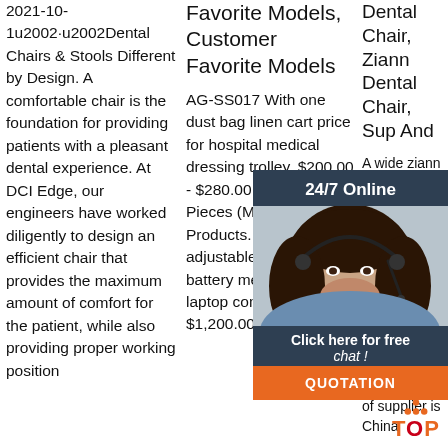2021-10-1u2002·u2002Dental Chairs & Stools Different by Design. A comfortable chair is the foundation for providing patients with a pleasant dental experience. At DCI Edge, our engineers have worked diligently to design an efficient chair that provides the maximum amount of comfort for the patient, while also providing proper working position
Favorite Models, Customer Favorite Models
AG-SS017 With one dust bag linen cart price for hospital medical dressing trolley. $200.00 - $280.00 Piece. 10.0 Pieces (Min. Order) All Products. ... AG-WT005 adjustable with backup battery medical mobile laptop computer cart. $1,200.00 -
Dental Chair, Ziann Dental Chair, Supplier And
[Figure (infographic): Customer service overlay widget with '24/7 Online' header, photo of woman with headset, 'Click here for free chat!' text, and orange QUOTATION button]
A wide ziann dental chair options available such as electric are 47 who sells ziann dental chair on Alibaba.com, mainly located in Asia. The top countries of supplier is China
[Figure (logo): TOP logo with orange dots arranged in triangle and orange/red TOP text]